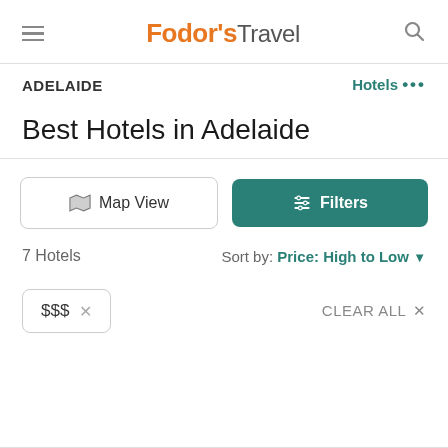Fodor's Travel
ADELAIDE   Hotels ...
Best Hotels in Adelaide
Map View
Filters
7 Hotels   Sort by: Price: High to Low
$$$ ×   CLEAR ALL ×